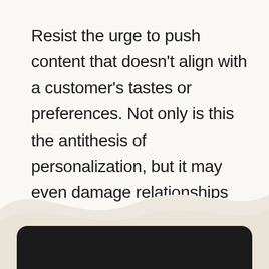Resist the urge to push content that doesn't align with a customer's tastes or preferences. Not only is this the antithesis of personalization, but it may even damage relationships that took time and effort to develop.
[Figure (illustration): Decorative wave shape in light beige/cream color at the bottom of the page, above a dark rounded rectangle card element]